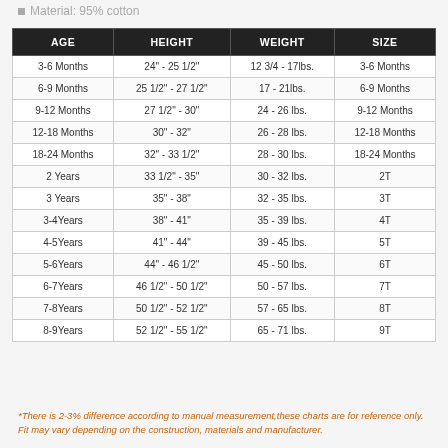Material: 95% cotton
| AGE | HEIGHT | WEIGHT | SIZE |
| --- | --- | --- | --- |
| 3-6 Months | 24" - 25 1/2" | 12 3/4 - 17lbs. | 3-6 Months |
| 6-9 Months | 25 1/2" - 27 1/2" | 17 - 21lbs. | 6-9 Months |
| 9-12 Months | 27 1/2" - 30" | 24 - 26 lbs. | 9-12 Months |
| 12-18 Months | 30" - 32" | 26 - 28 lbs. | 12-18 Months |
| 18-24 Months | 32" - 33 1/2" | 28 - 30 lbs. | 18-24 Months |
| 2 Years | 33 1/2" - 35" | 30 - 32 lbs. | 2T |
| 3 Years | 35" - 38" | 32 - 35 lbs. | 3T |
| 3-4Years | 38" - 41" | 35 - 39 lbs. | 4T |
| 4-5Years | 41" - 44" | 39 - 45 lbs. | 5T |
| 5-6Years | 44" - 46 1/2" | 45 - 50 lbs. | 6T |
| 6-7Years | 46 1/2" - 50 1/2" | 50 - 57 lbs. | 7T |
| 7-8Years | 50 1/2" - 52 1/2" | 57 - 65 lbs. | 8T |
| 8-9Years | 52 1/2" - 55 1/2" | 65 - 71 lbs. | 9T |
*There is 2-3% difference according to manual measurement,these charts are for reference only. Fit may vary depending on the construction, materials and manufacturer.